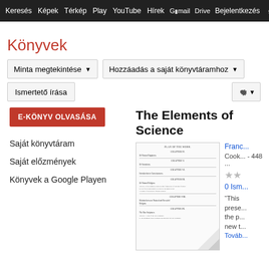Keresés  Képek  Térkép  Play  YouTube  Hírek  Gmail  Drive  Egyéb  Bejelentkezés  Beállítások
Könyvek
Minta megtekintése ▾   Hozzáadás a saját könyvtáramhoz ▾
Ismertető írása
E-KÖNYV OLVASÁSA
Saját könyvtáram
Saját előzmények
Könyvek a Google Playen
The Elements of Science
[Figure (photo): Thumbnail of a book page showing chapter headings including Plan of the Work, Chapter IV, V, VI, VII, VIII, IX with topics on Human Happiness, Sensations, Imagination, Natural Religion, Relative Between Natural and Revealed Religion, The Rise Scriptures.]
Franc...
Cook... - 448 ...
★★
0 Ism...
"This  prese... the p... new t...
Továb...